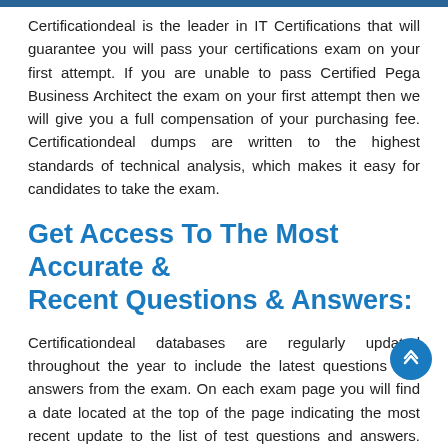Certificationdeal is the leader in IT Certifications that will guarantee you will pass your certifications exam on your first attempt. If you are unable to pass Certified Pega Business Architect the exam on your first attempt then we will give you a full compensation of your purchasing fee. Certificationdeal dumps are written to the highest standards of technical analysis, which makes it easy for candidates to take the exam.
Get Access To The Most Accurate & Recent Questions & Answers:
Certificationdeal databases are regularly updated throughout the year to include the latest questions and answers from the exam. On each exam page you will find a date located at the top of the page indicating the most recent update to the list of test questions and answers. Having authentic and current exam questions, will you pass your test on the first try?